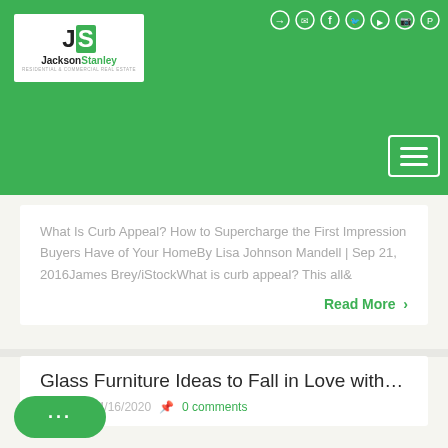[Figure (logo): JacksonStanley real estate logo, white background with green JS monogram]
[Figure (infographic): Social media icons (login, email, Facebook, Twitter, YouTube, Instagram, Pinterest) on green header background]
[Figure (other): Hamburger menu button (three white bars) in white outlined square on green background]
What Is Curb Appeal? How to Supercharge the First Impression Buyers Have of Your HomeBy Lisa Johnson Mandell | Sep 21, 2016James Brey/iStockWhat is curb appeal? This all&
Read More >
Glass Furniture Ideas to Fall in Love with…
antt  04/16/2020  0 comments
[Figure (other): Green chat button with three dots]